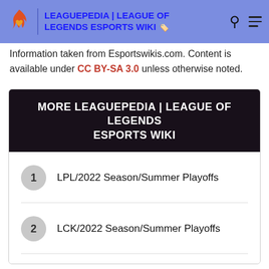LEAGUEPEDIA | LEAGUE OF LEGENDS ESPORTS WIKI
Information taken from Esportswikis.com. Content is available under CC BY-SA 3.0 unless otherwise noted.
MORE LEAGUEPEDIA | LEAGUE OF LEGENDS ESPORTS WIKI
1 LPL/2022 Season/Summer Playoffs
2 LCK/2022 Season/Summer Playoffs
3 LPL/2022 Season/Summer Season